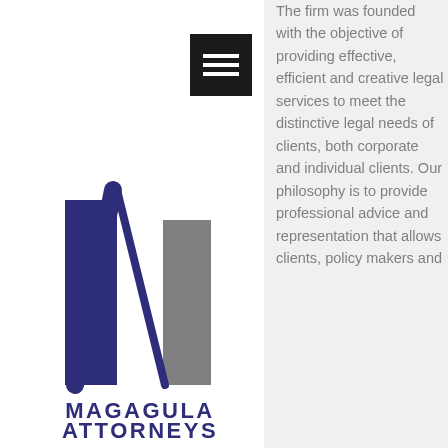[Figure (logo): Magagula Attorneys logo with stylized M letterform in navy blue and grey, with firm name below]
The firm was founded with the objective of providing effective, efficient and creative legal services to meet the distinctive legal needs of clients, both corporate and individual clients. Our philosophy is to provide professional advice and representation that allows clients, policy makers and